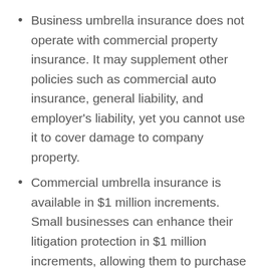Business umbrella insurance does not operate with commercial property insurance. It may supplement other policies such as commercial auto insurance, general liability, and employer's liability, yet you cannot use it to cover damage to company property.
Commercial umbrella insurance is available in $1 million increments. Small businesses can enhance their litigation protection in $1 million increments, allowing them to purchase the exact coverage they require.
Despite the misconception that commercial umbrella insurance covers everything, your business still needs other business